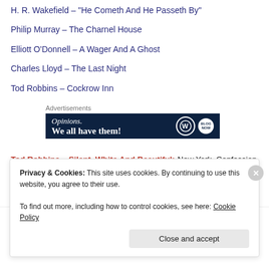H. R. Wakefield – "He Cometh And He Passeth By"
Philip Murray – The Charnel House
Elliott O'Donnell – A Wager And A Ghost
Charles Lloyd – The Last Night
Tod Robbins – Cockrow Inn
[Figure (screenshot): WordPress advertisement banner reading 'Opinions. We all have them!' with WordPress W logo and a round badge icon on dark navy background.]
Advertisements
Tod Robbins – Silent, White And Beautiful: New York. Confession of sculptor Rene Galien as he awaits execution in the electric chair. Having been tricked into marriage to her daughter
Privacy & Cookies: This site uses cookies. By continuing to use this website, you agree to their use.
To find out more, including how to control cookies, see here: Cookie Policy